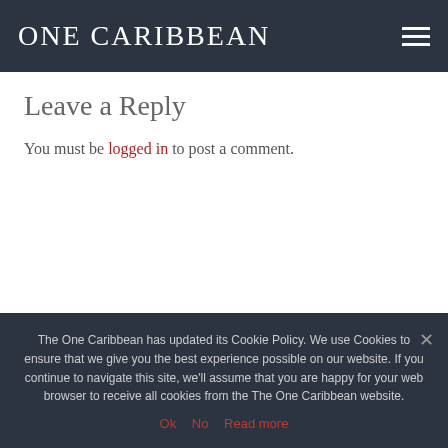ONE CARIBBEAN
Leave a Reply
You must be logged in to post a comment.
NEWSLETTER
The One Caribbean has updated its Cookie Policy. We use Cookies to ensure that we give you the best experience possible on our website. If you continue to navigate this site, we'll assume that you are happy for your web browser to receive all cookies from the The One Caribbean website.
Ok   No   Read more